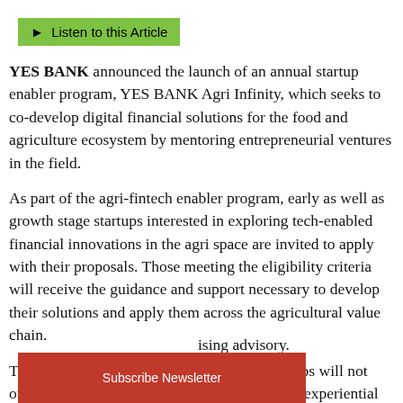[Figure (other): Green button labeled 'Listen to this Article' with a small play/speaker icon]
YES BANK announced the launch of an annual startup enabler program, YES BANK Agri Infinity, which seeks to co-develop digital financial solutions for the food and agriculture ecosystem by mentoring entrepreneurial ventures in the field.
As part of the agri-fintech enabler program, early as well as growth stage startups interested in exploring tech-enabled financial innovations in the agri space are invited to apply with their proposals. Those meeting the eligibility criteria will receive the guidance and support necessary to develop their solutions and apply them across the agricultural value chain.
Through the initiative, a select cohort of startups will not only receive mentoring by veteran bankers for experiential co-development, but also get access to YES BANK's digital banking infrastructure and network, collaborative opportunities [and] rising advisory.
[Figure (other): Red 'Subscribe Newsletter' button at the bottom of the page]